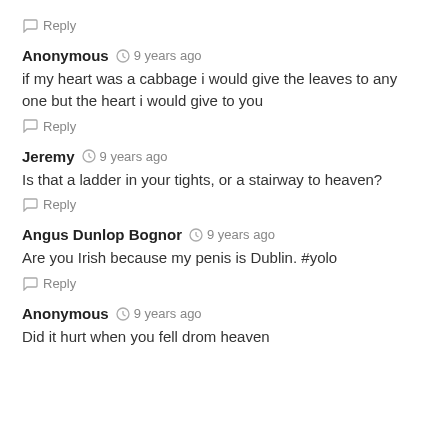Reply
Anonymous  9 years ago
if my heart was a cabbage i would give the leaves to any one but the heart i would give to you
Reply
Jeremy  9 years ago
Is that a ladder in your tights, or a stairway to heaven?
Reply
Angus Dunlop Bognor  9 years ago
Are you Irish because my penis is Dublin. #yolo
Reply
Anonymous  9 years ago
Did it hurt when you fell drom heaven